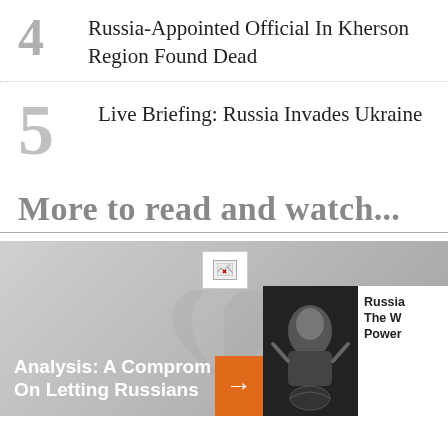4 Russia-Appointed Official In Kherson Region Found Dead
5 Live Briefing: Russia Invades Ukraine
More to read and watch...
[Figure (screenshot): News article carousel section with a broken image placeholder, a dark background card for 'Analysis: A Compromise On Letting Russians', an orange arrow button, and a side card partially visible with text 'Russia... The W... Power...' and a dark image thumbnail]
Analysis: A Compromise On Letting Russians
Russia... The W... Power...